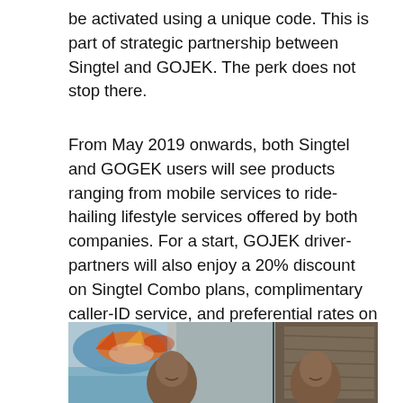be activated using a unique code. This is part of strategic partnership between Singtel and GOJEK. The perk does not stop there.
From May 2019 onwards, both Singtel and GOGEK users will see products ranging from mobile services to ride-hailing lifestyle services offered by both companies. For a start, GOJEK driver-partners will also enjoy a 20% discount on Singtel Combo plans, complimentary caller-ID service, and preferential rates on Singtel's wide range of content and lifestyle services, including Singtel Music and HungryGoWhere (from which they can also receive personalised restaurant recommendations).
[Figure (photo): Two men smiling, seated side by side. On the left side there is a colorful painting of a fish on the wall. On the right side there is a wooden cabinet or door.]